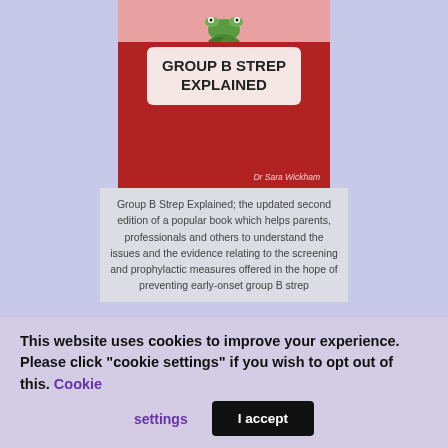[Figure (illustration): Book cover of 'Group B Strep Explained' by Dr Sara Wickham. Red background with a pink top section containing a frog illustration, a light-colored rounded rectangle with the title text in bold, and the author name at the bottom.]
Group B Strep Explained; the updated second edition of a popular book which helps parents, professionals and others to understand the issues and the evidence relating to the screening and prophylactic measures offered in the hope of preventing early-onset group B strep
This website uses cookies to improve your experience. Please click "cookie settings" if you wish to opt out of this. Cookie settings | I accept